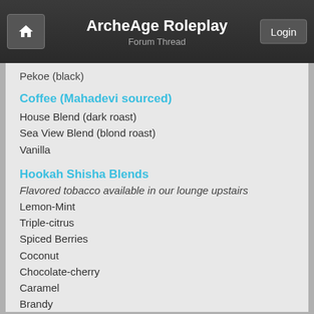ArcheAge Roleplay — Forum Thread
Pekoe (black)
Coffee (Mahadevi sourced)
House Blend (dark roast)
Sea View Blend (blond roast)
Vanilla
Hookah Shisha Blends
Flavored tobacco available in our lounge upstairs
Lemon-Mint
Triple-citrus
Spiced Berries
Coconut
Chocolate-cherry
Caramel
Brandy
Jasmine
Hibiscus
Vanilla-rose